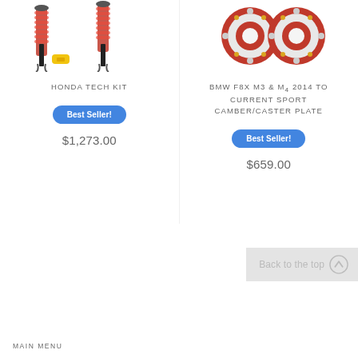[Figure (photo): Coilover suspension kit parts (red and black coilovers with yellow component) — Honda Tech Kit product image, partially cropped at top]
[Figure (photo): BMW F8X M3 & M4 Sport Camber/Caster Plate — red circular camber plates shown from above, partially cropped at top]
HONDA TECH KIT
Best Seller!
$1,273.00
BMW F8X M3 & M4 2014 TO CURRENT SPORT CAMBER/CASTER PLATE
Best Seller!
$659.00
Back to the top
MAIN MENU